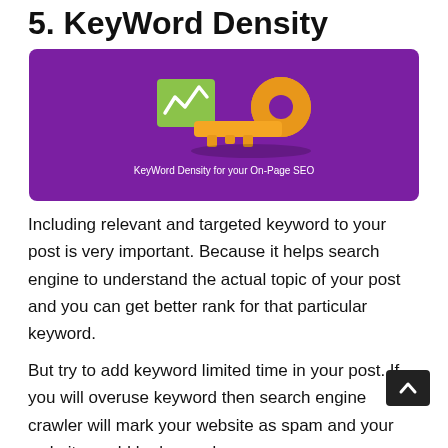5. KeyWord Density
[Figure (illustration): Purple banner with a golden key icon and a green analytics/chart icon, with caption 'KeyWord Density for your On-Page SEO']
Including relevant and targeted keyword to your post is very important. Because it helps search engine to understand the actual topic of your post and you can get better rank for that particular keyword.
But try to add keyword limited time in your post. If you will overuse keyword then search engine crawler will mark your website as spam and your website could be banned